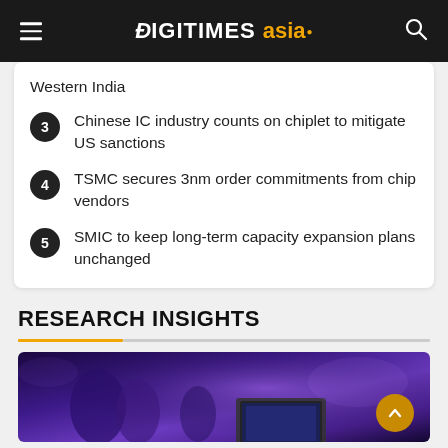DIGITIMES asia
Western India
Chinese IC industry counts on chiplet to mitigate US sanctions
TSMC secures 3nm order commitments from chip vendors
SMIC to keep long-term capacity expansion plans unchanged
RESEARCH INSIGHTS
[Figure (photo): Dark purple-toned photo showing people at an event with a laptop visible in the foreground]